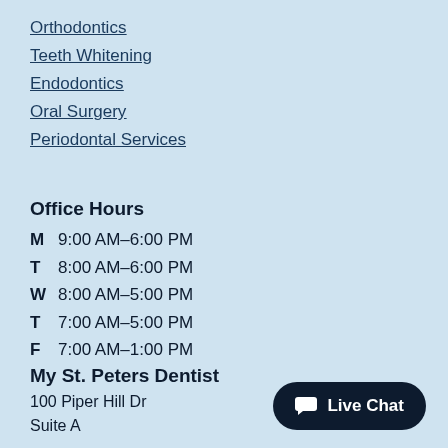Orthodontics
Teeth Whitening
Endodontics
Oral Surgery
Periodontal Services
Office Hours
M  9:00 AM–6:00 PM
T  8:00 AM–6:00 PM
W  8:00 AM–5:00 PM
T  7:00 AM–5:00 PM
F  7:00 AM–1:00 PM
My St. Peters Dentist
100 Piper Hill Dr
Suite A